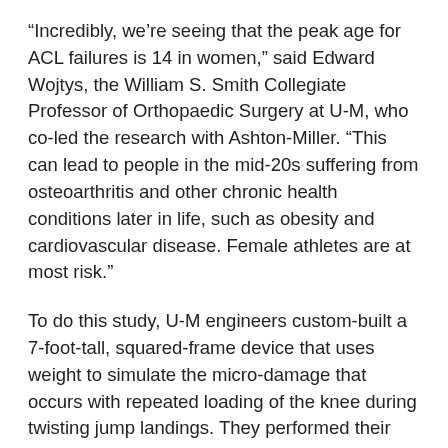“Incredibly, we’re seeing that the peak age for ACL failures is 14 in women,” said Edward Wojtys, the William S. Smith Collegiate Professor of Orthopaedic Surgery at U-M, who co-led the research with Ashton-Miller. “This can lead to people in the mid-20s suffering from osteoarthritis and other chronic health conditions later in life, such as obesity and cardiovascular disease. Female athletes are at most risk.”
To do this study, U-M engineers custom-built a 7-foot-tall, squared-frame device that uses weight to simulate the micro-damage that occurs with repeated loading of the knee during twisting jump landings. They performed their testing on cadaver knees and then compared the results with ACLs removed from living patients in ACL replacement surgeries at the University of Michigan Medical Center.